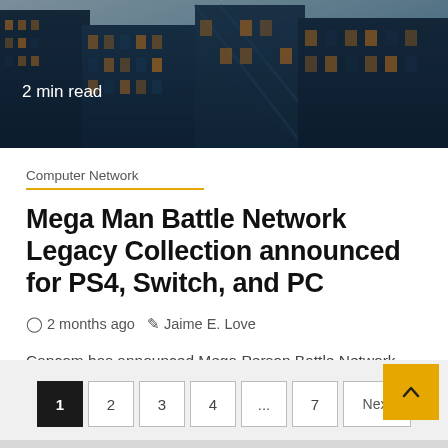[Figure (photo): Dark blue skyscraper buildings viewed from below against a light sky, used as hero image]
2 min read
Computer Network
Mega Man Battle Network Legacy Collection announced for PS4, Switch, and PC
2 months ago   Jaime E. Love
Capcom has announced Mega Person Battle Network Legacy Collection for PlayStation 4, Swap, and Personal computer (Steam). It will start...
1  2  3  4  ...  7  Next